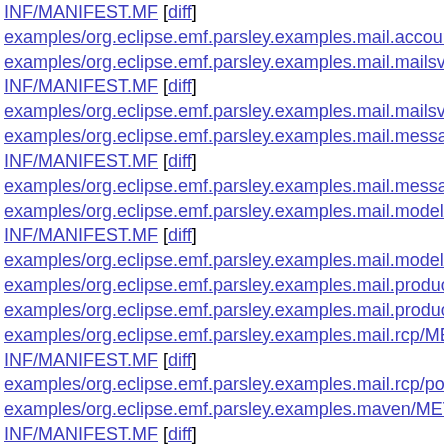INF/MANIFEST.MF [diff]
examples/org.eclipse.emf.parsley.examples.mail.accountsview/pom...
examples/org.eclipse.emf.parsley.examples.mail.mailsview/META-INF/MANIFEST.MF [diff]
examples/org.eclipse.emf.parsley.examples.mail.mailsview/pom.xml...
examples/org.eclipse.emf.parsley.examples.mail.messageview/META-INF/MANIFEST.MF [diff]
examples/org.eclipse.emf.parsley.examples.mail.messageview/pom...
examples/org.eclipse.emf.parsley.examples.mail.model/META-INF/MANIFEST.MF [diff]
examples/org.eclipse.emf.parsley.examples.mail.model/pom.xml [d...
examples/org.eclipse.emf.parsley.examples.mail.product.feature/fe...
examples/org.eclipse.emf.parsley.examples.mail.product.feature/po...
examples/org.eclipse.emf.parsley.examples.mail.rcp/META-INF/MANIFEST.MF [diff]
examples/org.eclipse.emf.parsley.examples.mail.rcp/pom.xml [diff]
examples/org.eclipse.emf.parsley.examples.maven/META-INF/MANIFEST.MF [diff]
examples/org.eclipse.emf.parsley.examples.maven/pom.xml [diff]
examples/org.eclipse.emf.parsley.examples.rap.model/META-INF/MANIFEST.MF [diff]
examples/org.eclipse.emf.parsley.examples.rap.model/...